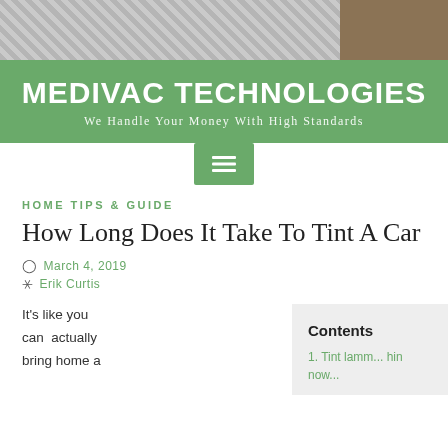[Figure (photo): Header image strip showing papers/documents on the left and a brown/earth-toned image on the right]
MEDIVAC TECHNOLOGIES
We Handle Your Money With High Standards
[Figure (other): Green hamburger menu navigation button with three horizontal lines]
HOME TIPS & GUIDE
How Long Does It Take To Tint A Car
March 4, 2019
Erik Curtis
It's like you can actually bring home a
Contents